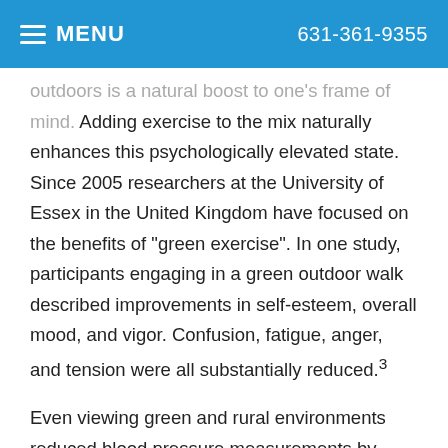MENU   631-361-9355
outdoors is a natural boost to one's frame of mind. Adding exercise to the mix naturally enhances this psychologically elevated state. Since 2005 researchers at the University of Essex in the United Kingdom have focused on the benefits of "green exercise". In one study, participants engaging in a green outdoor walk described improvements in self-esteem, overall mood, and vigor. Confusion, fatigue, anger, and tension were all substantially reduced.³
Even viewing green and rural environments reduced blood pressure measurements by almost 9% in 100 treadmillers compared to those viewing blank screens or viewing urban images. If viewing green spaces is beneficial, actually being out-of-doors is likely to provide even greater benefit.